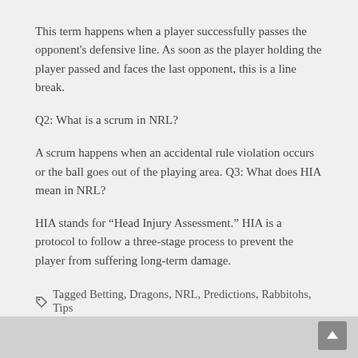This term happens when a player successfully passes the opponent's defensive line. As soon as the player holding the player passed and faces the last opponent, this is a line break.
Q2: What is a scrum in NRL?
A scrum happens when an accidental rule violation occurs or the ball goes out of the playing area. Q3: What does HIA mean in NRL?
HIA stands for "Head Injury Assessment." HIA is a protocol to follow a three-stage process to prevent the player from suffering long-term damage.
Tagged Betting, Dragons, NRL, Predictions, Rabbitohs, Tips
Author: Billy Morris